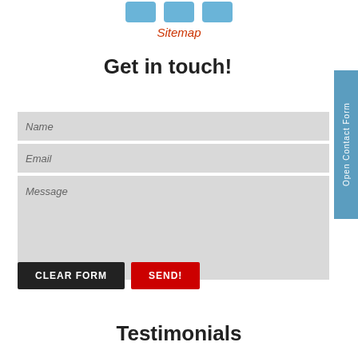[Figure (other): Three blue rounded rectangle icons (social media share buttons) at the top center]
Sitemap
Get in touch!
[Figure (other): Contact form with Name, Email text inputs and a Message textarea, plus Clear Form and Send! buttons]
Testimonials